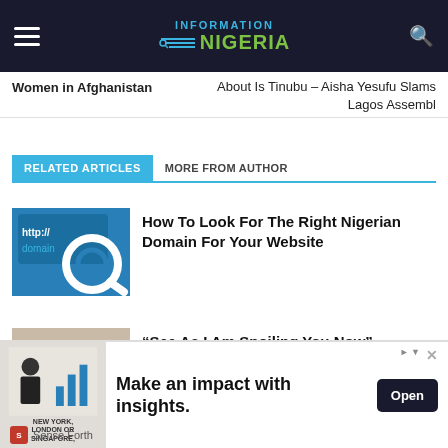Information Nigeria
Women in Afghanistan   About Is Tinubu – Aisha Yesufu Slams Lagos Assembl
RELATED ARTICLES   MORE FROM AUTHOR
[Figure (illustration): Blue domain/http search icon graphic]
How To Look For The Right Nigerian Domain For Your Website
[Figure (photo): Two women posing together]
“See As I Am Spoiling You Now” – Regina Daniels Tells Mom
[Figure (infographic): Advertisement: Make an impact with insights. New York, London or Singapore. Sense Forth. Open button.]